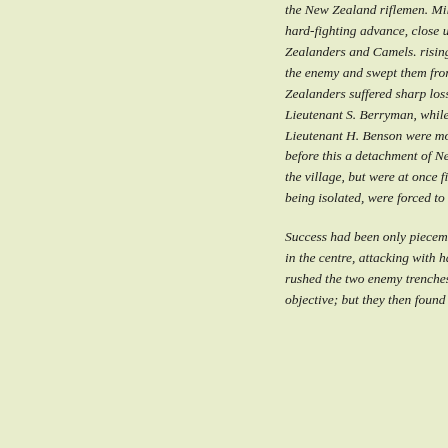the New Zealand riflemen. Mills, however, was now, after a hard-fighting advance, close up on the right, and the New Zealanders and Camels. rising with the bayonet, dashed at the enemy and swept them from the hillside The New Zealanders suffered sharp losses, among the killed being Lieutenant S. Berryman, while Captain H. B. Hinson and Lieutenant H. Benson were mortally wounded. Shortly before this a detachment of New Zealanders had penetrated the village, but were at once fired upon from the houses, and, being isolated, were forced to withdraw.
Success had been only piecemeal. The two Camel battalions in the centre, attacking with hand-grenades, had quickly rushed the two enemy trenches which were their immediate objective; but they then found themselves in